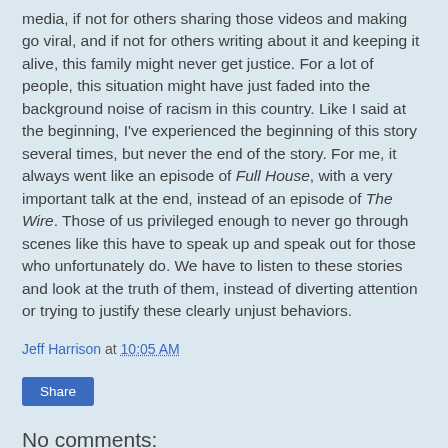media, if not for others sharing those videos and making go viral, and if not for others writing about it and keeping it alive, this family might never get justice. For a lot of people, this situation might have just faded into the background noise of racism in this country. Like I said at the beginning, I've experienced the beginning of this story several times, but never the end of the story. For me, it always went like an episode of Full House, with a very important talk at the end, instead of an episode of The Wire. Those of us privileged enough to never go through scenes like this have to speak up and speak out for those who unfortunately do. We have to listen to these stories and look at the truth of them, instead of diverting attention or trying to justify these clearly unjust behaviors.
Jeff Harrison at 10:05 AM
Share
No comments:
Post a Comment